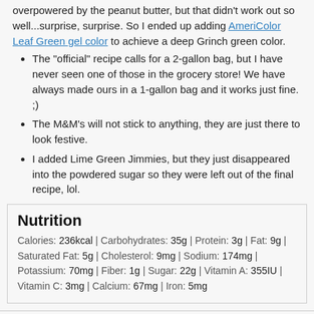overpowered by the peanut butter, but that didn't work out so well...surprise, surprise. So I ended up adding AmeriColor Leaf Green gel color to achieve a deep Grinch green color.
The "official" recipe calls for a 2-gallon bag, but I have never seen one of those in the grocery store! We have always made ours in a 1-gallon bag and it works just fine. ;)
The M&M's will not stick to anything, they are just there to look festive.
I added Lime Green Jimmies, but they just disappeared into the powdered sugar so they were left out of the final recipe, lol.
Nutrition
Calories: 236kcal | Carbohydrates: 35g | Protein: 3g | Fat: 9g | Saturated Fat: 5g | Cholesterol: 9mg | Sodium: 174mg | Potassium: 70mg | Fiber: 1g | Sugar: 22g | Vitamin A: 355IU | Vitamin C: 3mg | Calcium: 67mg | Iron: 5mg
Did you make this recipe? Tag @cookingwithcurls and hashtag #cookingwithcurls